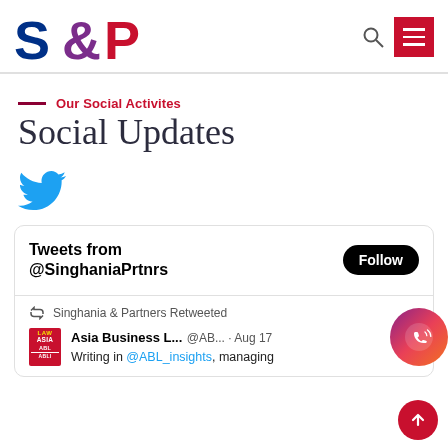[Figure (logo): S&P Singhania & Partners logo with blue S, ampersand in gradient blue-purple-red, and red P]
Our Social Activites
Social Updates
[Figure (illustration): Twitter bird icon in blue]
Tweets from @SinghaniaPrtnrs
Singhania & Partners Retweeted
Asia Business L... @AB... · Aug 17
Writing in @ABL_insights, managing